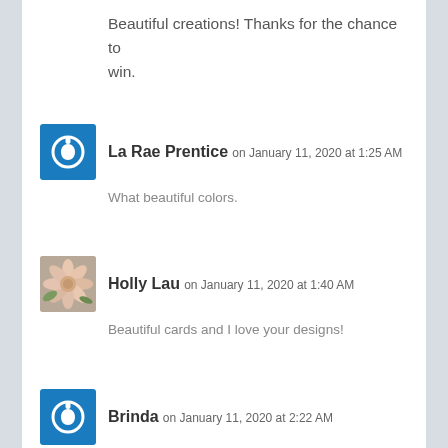Beautiful creations! Thanks for the chance to win.
La Rae Prentice on January 11, 2020 at 1:25 AM
What beautiful colors.
Holly Lau on January 11, 2020 at 1:40 AM
Beautiful cards and I love your designs!
Brinda on January 11, 2020 at 2:22 AM
Beautiful cards! Love the colours!